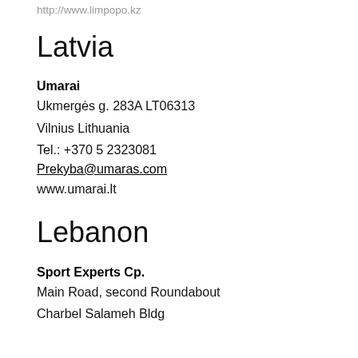http://www.limpopo.kz
Latvia
Umarai
Ukmerges g. 283A LT06313
Vilnius Lithuania
Tel.: +370 5 2323081
Prekyba@umaras.com
www.umarai.lt
Lebanon
Sport Experts Cp.
Main Road, second Roundabout
Charbel Salameh Bldg